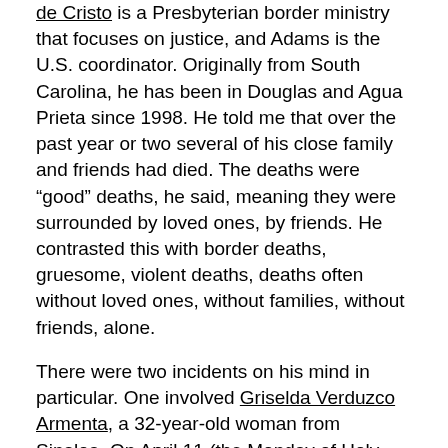de Cristo is a Presbyterian border ministry that focuses on justice, and Adams is the U.S. coordinator. Originally from South Carolina, he has been in Douglas and Agua Prieta since 1998. He told me that over the past year or two several of his close family and friends had died. The deaths were “good” deaths, he said, meaning they were surrounded by loved ones, by friends. He contrasted this with border deaths, gruesome, violent deaths, deaths often without loved ones, without families, without friends, alone.
There were two incidents on his mind in particular. One involved Griselda Verduzco Armenta, a 32-year-old woman from Sinaloa. On April 11 (the Monday of Holy Week, Adams pointed out), Armenta scaled the 30-foot wall on the outskirts of Douglas. At the top of the wall she fell, became entangled in the climbing harness,